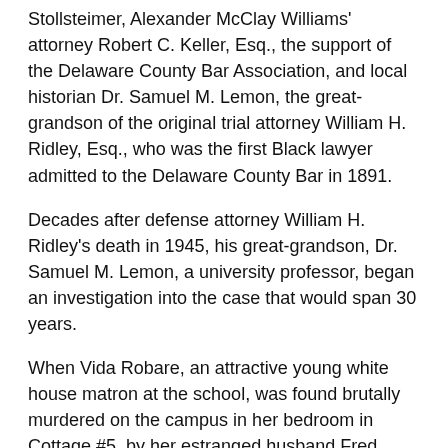Stollsteimer, Alexander McClay Williams' attorney Robert C. Keller, Esq., the support of the Delaware County Bar Association, and local historian Dr. Samuel M. Lemon, the great-grandson of the original trial attorney William H. Ridley, Esq., who was the first Black lawyer admitted to the Delaware County Bar in 1891.
Decades after defense attorney William H. Ridley's death in 1945, his great-grandson, Dr. Samuel M. Lemon, a university professor, began an investigation into the case that would span 30 years.
When Vida Robare, an attractive young white house matron at the school, was found brutally murdered on the campus in her bedroom in Cottage #5, by her estranged husband Fred Robare, the story was picked up by the Associated Press, sending headlines coast to coast across America.
Vida Robare died October 3, 1930. Before defense attorney William H. Ridley was finally appointed to